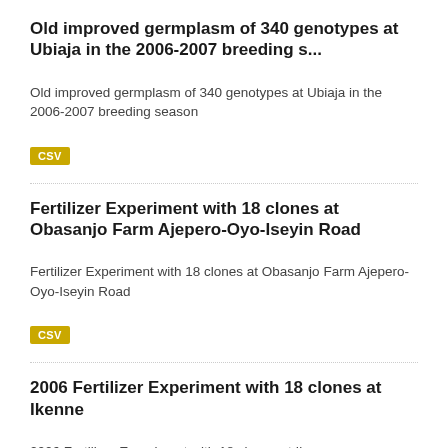Old improved germplasm of 340 genotypes at Ubiaja in the 2006-2007 breeding s...
Old improved germplasm of 340 genotypes at Ubiaja in the 2006-2007 breeding season
CSV
Fertilizer Experiment with 18 clones at Obasanjo Farm Ajepero-Oyo-Iseyin Road
Fertilizer Experiment with 18 clones at Obasanjo Farm Ajepero-Oyo-Iseyin Road
CSV
2006 Fertilizer Experiment with 18 clones at Ikenne
2006 Fertilizer Experiment with 18 clones at Ikenne
CSV